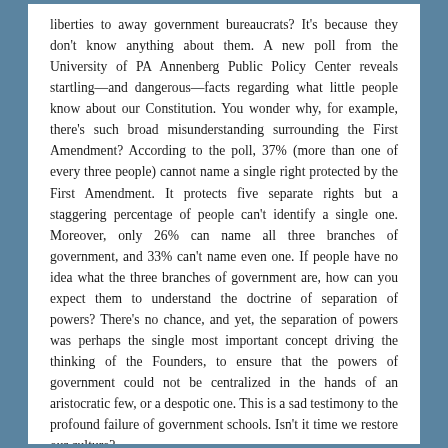liberties to away government bureaucrats? It's because they don't know anything about them. A new poll from the University of PA Annenberg Public Policy Center reveals startling—and dangerous—facts regarding what little people know about our Constitution. You wonder why, for example, there's such broad misunderstanding surrounding the First Amendment? According to the poll, 37% (more than one of every three people) cannot name a single right protected by the First Amendment. It protects five separate rights but a staggering percentage of people can't identify a single one. Moreover, only 26% can name all three branches of government, and 33% can't name even one. If people have no idea what the three branches of government are, how can you expect them to understand the doctrine of separation of powers? There's no chance, and yet, the separation of powers was perhaps the single most important concept driving the thinking of the Founders, to ensure that the powers of government could not be centralized in the hands of an aristocratic few, or a despotic one. This is a sad testimony to the profound failure of government schools. Isn't it time we restore our culture?